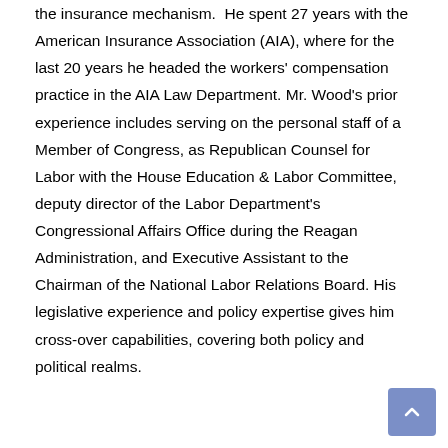the insurance mechanism. He spent 27 years with the American Insurance Association (AIA), where for the last 20 years he headed the workers' compensation practice in the AIA Law Department. Mr. Wood's prior experience includes serving on the personal staff of a Member of Congress, as Republican Counsel for Labor with the House Education & Labor Committee, deputy director of the Labor Department's Congressional Affairs Office during the Reagan Administration, and Executive Assistant to the Chairman of the National Labor Relations Board. His legislative experience and policy expertise gives him cross-over capabilities, covering both policy and political realms.